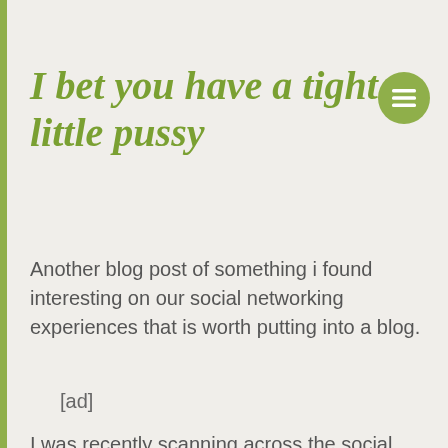I bet you have a tight little pussy
Another blog post of something i found interesting on our social networking experiences that is worth putting into a blog.
[ad]
I was recently scanning across the social networking when i came across a young lady posting some remarks about a boy messaging her